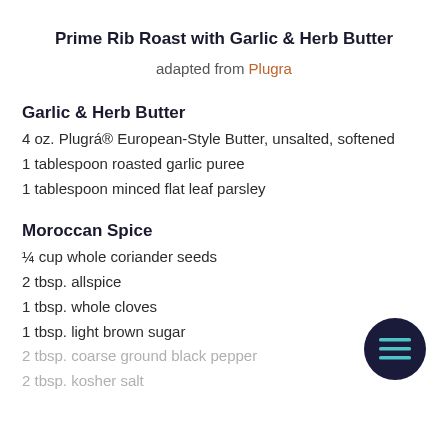Prime Rib Roast with Garlic & Herb Butter
adapted from Plugra
Garlic & Herb Butter
4 oz. Plugrá® European-Style Butter, unsalted, softened
1 tablespoon roasted garlic puree
1 tablespoon minced flat leaf parsley
Moroccan Spice
¼ cup whole coriander seeds
2 tbsp. allspice
1 tbsp. whole cloves
1 tbsp. light brown sugar
2 tbsp. coarse ground black pepper
2 tbsp. kosher salt